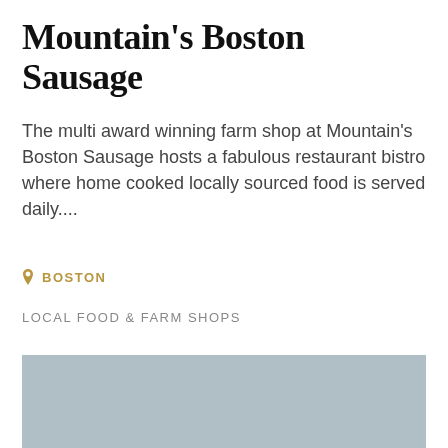Mountain's Boston Sausage
The multi award winning farm shop at Mountain's Boston Sausage hosts a fabulous restaurant bistro where home cooked locally sourced food is served daily....
BOSTON
LOCAL FOOD & FARM SHOPS
[Figure (photo): Gray placeholder image for Mountain's Boston Sausage farm shop]